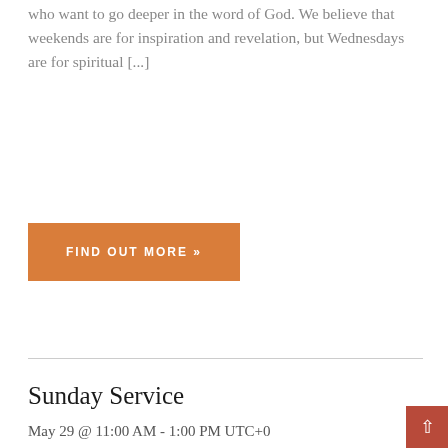who want to go deeper in the word of God. We believe that weekends are for inspiration and revelation, but Wednesdays are for spiritual [...]
FIND OUT MORE »
Sunday Service
May 29 @ 11:00 AM - 1:00 PM UTC+0
LICF, 3 St. Leger Court, St. Leger Drive, Great Linford
Milton Keynes, Buckinghamshire
MK14 5HA United Kingdom
+ Google Map
Sunday Service Sunday service can be attended online or in church. For location or online details, please view below.